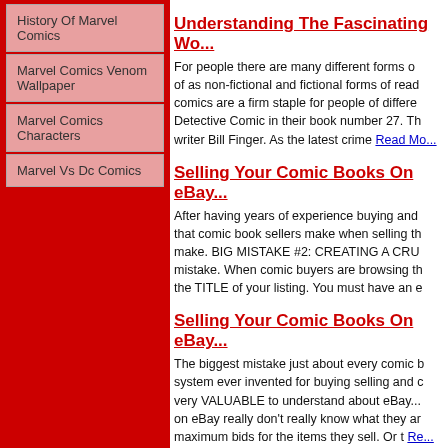History Of Marvel Comics
Marvel Comics Venom Wallpaper
Marvel Comics Characters
Marvel Vs Dc Comics
Understanding The Fascinating Wo...
For people there are many different forms of... of as non-fictional and fictional forms of read... comics are a firm staple for people of differen... Detective Comic in their book number 27. Th... writer Bill Finger. As the latest crime Read Mo...
Selling Your Comic Books On eBay...
After having years of experience buying and... that comic book sellers make when selling th... make. BIG MISTAKE #2: CREATING A CRU... mistake. When comic buyers are browsing th... the TITLE of your listing. You must have an e...
Selling Your Comic Books On eBay...
The biggest mistake just about every comic b... system ever invented for buying selling and c... very VALUABLE to understand about eBay.... on eBay really don't really know what they ar... maximum bids for the items they sell. Or t Re...